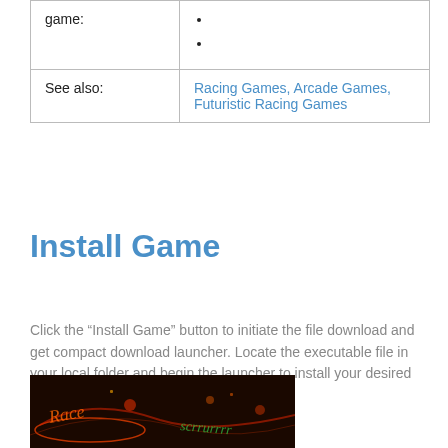| game: | • 
• |
| See also: | Racing Games, Arcade Games, Futuristic Racing Games |
Install Game
Click the “Install Game” button to initiate the file download and get compact download launcher. Locate the executable file in your local folder and begin the launcher to install your desired game.
[Figure (photo): Screenshot of a racing game with neon lights on a dark track]